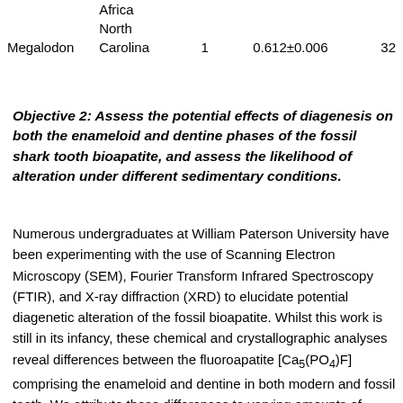|  | Africa |  |  |  |
|  | North |  |  |  |
| Megalodon | Carolina | 1 | 0.612±0.006 | 32 |
Objective 2: Assess the potential effects of diagenesis on both the enameloid and dentine phases of the fossil shark tooth bioapatite, and assess the likelihood of alteration under different sedimentary conditions.
Numerous undergraduates at William Paterson University have been experimenting with the use of Scanning Electron Microscopy (SEM), Fourier Transform Infrared Spectroscopy (FTIR), and X-ray diffraction (XRD) to elucidate potential diagenetic alteration of the fossil bioapatite. Whilst this work is still in its infancy, these chemical and crystallographic analyses reveal differences between the fluoroapatite [Ca5(PO4)F] comprising the enameloid and dentine in both modern and fossil teeth. We attribute these differences to varying amounts of chemical substitutions of phosphate by carbonate and fluoride by hydroxide in the crystal lattice of the more